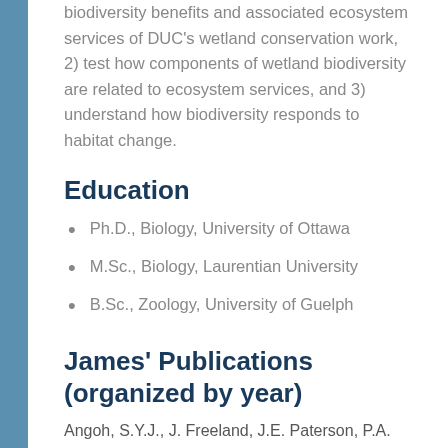biodiversity benefits and associated ecosystem services of DUC's wetland conservation work, 2) test how components of wetland biodiversity are related to ecosystem services, and 3) understand how biodiversity responds to habitat change.
Education
Ph.D., Biology, University of Ottawa
M.Sc., Biology, Laurentian University
B.Sc., Zoology, University of Guelph
James' Publications (organized by year)
Angoh, S.Y.J., J. Freeland, J.E. Paterson, P.A. Rupasinghe,